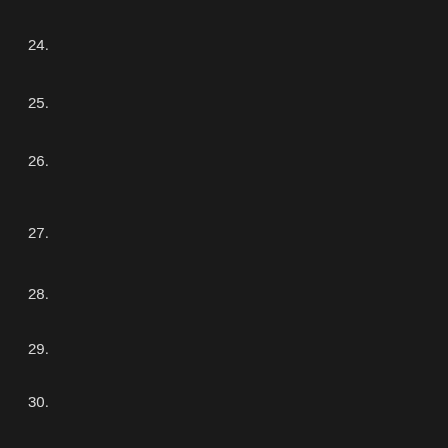24.
25.
26.
27.
28.
29.
30.
31.